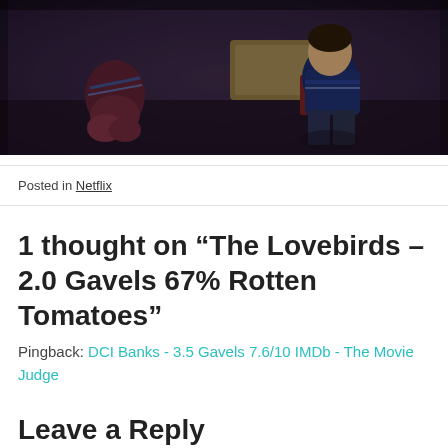[Figure (photo): Movie still showing two characters tied up in what appears to be a barn or rustic setting. One character on the left wearing a dark outfit, one on the right wearing a dark blue sweater, with hay bales in the background.]
Posted in Netflix
1 thought on “The Lovebirds – 2.0 Gavels 67% Rotten Tomatoes”
Pingback: DCI Banks - 3.5 Gavels 7.6/10 IMDb - The Movie Judge
Leave a Reply